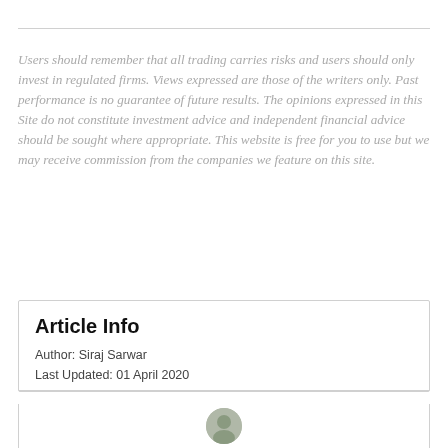Users should remember that all trading carries risks and users should only invest in regulated firms. Views expressed are those of the writers only. Past performance is no guarantee of future results. The opinions expressed in this Site do not constitute investment advice and independent financial advice should be sought where appropriate. This website is free for you to use but we may receive commission from the companies we feature on this site.
Article Info
Author: Siraj Sarwar
Last Updated: 01 April 2020
[Figure (photo): Circular author avatar photo partially visible at bottom of page]